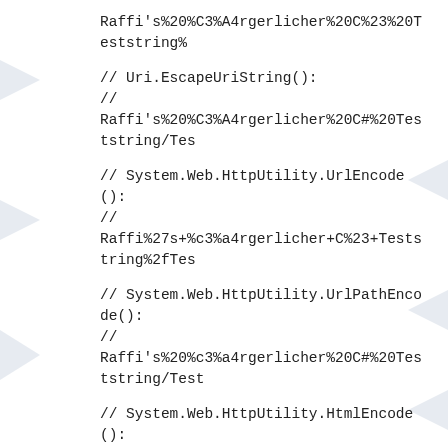Raffi's%20%C3%A4rgerlicher%20C%23%20Teststring%
// Uri.EscapeUriString():
//
Raffi's%20%C3%A4rgerlicher%20C#%20Teststring/Tes
// System.Web.HttpUtility.UrlEncode():
//
Raffi%27s+%c3%a4rgerlicher+C%23+Teststring%2fTes
// System.Web.HttpUtility.UrlPathEncode():
//
Raffi's%20%c3%a4rgerlicher%20C#%20Teststring/Test
// System.Web.HttpUtility.HtmlEncode():
// Raffi&#39;s &#228;rgerlicher C# Teststring/Testcode.
// System.Web.HttpUtility.HtmlAttributeEncode():
// Raffi&#39;s ärgerlicher C# Teststring/Testcode.
But I would not blog about it if I did not have a solution [...]